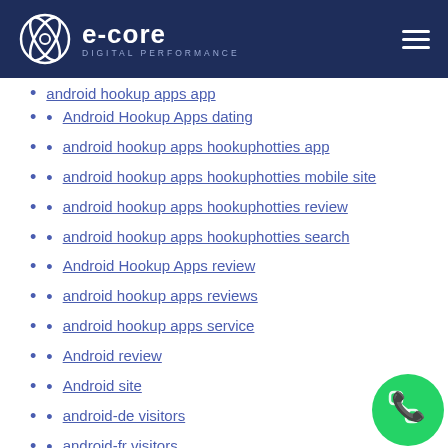e-core DIGITAL PERFORMANCE
Android Hookup Apps dating
android hookup apps hookuphotties app
android hookup apps hookuphotties mobile site
android hookup apps hookuphotties review
android hookup apps hookuphotties search
Android Hookup Apps review
android hookup apps reviews
android hookup apps service
Android review
Android site
android-de visitors
android-fr visitors
android-it visitors
android-tr Bu Web sitesine git
android-tr Siteleri
Angelreturn aplicacion para ligar
angelreturn avis
AngelReturn dating
angelreturn es sign in
angelreturn fr review
[Figure (logo): WhatsApp contact button icon, green circle with white phone handsets]